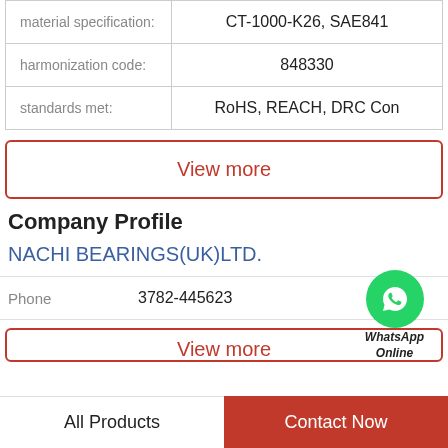|  |  |
| --- | --- |
| material specification: | CT-1000-K26, SAE841 |
| harmonization code: | 848330 |
| standards met: | RoHS, REACH, DRC Con |
View more
[Figure (logo): WhatsApp green circle icon with phone handset, labeled 'WhatsApp Online' below]
Company Profile
NACHI BEARINGS(UK)LTD.
Phone   3782-445623
View more
All Products   Contact Now